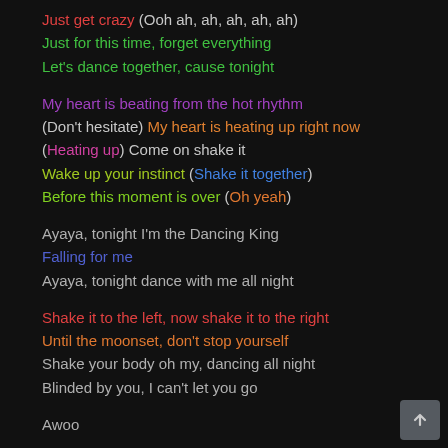Just get crazy (Ooh ah, ah, ah, ah, ah)
Just for this time, forget everything
Let's dance together, cause tonight
My heart is beating from the hot rhythm
(Don't hesitate) My heart is heating up right now
(Heating up) Come on shake it
Wake up your instinct (Shake it together)
Before this moment is over (Oh yeah)
Ayaya, tonight I'm the Dancing King
Falling for me
Ayaya, tonight dance with me all night
Shake it to the left, now shake it to the right
Until the moonset, don't stop yourself
Shake your body oh my, dancing all night
Blinded by you, I can't let you go
Awoo
We only live once anyway